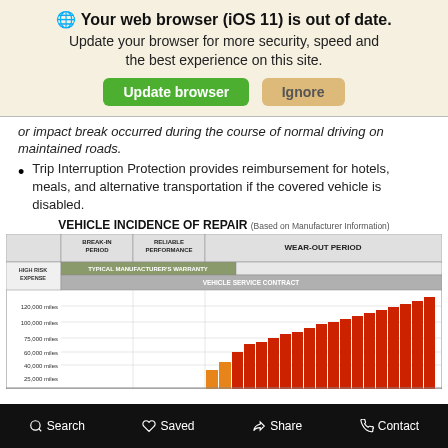[Figure (screenshot): Browser update banner: 'Your web browser (iOS 11) is out of date. Update your browser for more security, speed and the best experience on this site.' with green 'Update browser' and tan 'Ignore' buttons.]
or impact break occurred during the course of normal driving on maintained roads.
Trip Interruption Protection provides reimbursement for hotels, meals, and alternative transportation if the covered vehicle is disabled.
[Figure (bar-chart): Bar chart showing vehicle incidence of repair across Break-In Period, Reliable Performance, and Wear-Out Period. Orange bars appear during transition period; red bars rise steeply during Wear-Out Period. Y-axis shows mileage: 25,000 to 120,000+ miles. Header rows show 'Typical Manufacturer's Warranty' and 'Vehicle Service Contract' spans.]
Search   Saved   Share   Contact